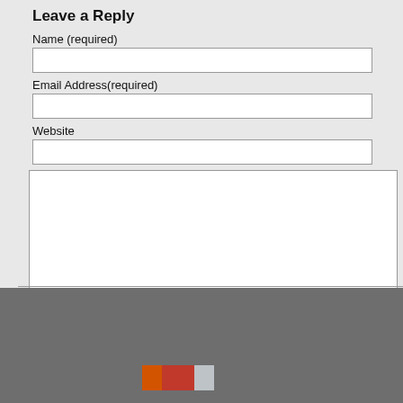Leave a Reply
Name (required)
Email Address(required)
Website
[Figure (screenshot): A web comment form with fields for Name, Email Address, Website, a large comment textarea, and a Submit Comment button on a light gray background.]
[Figure (other): Small banner/badge graphic at the bottom of the page on a gray background, containing colored sections in red, orange, and light gray with small white text.]